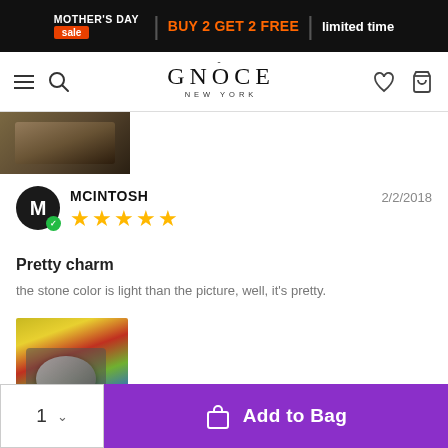MOTHER'S DAY sale | BUY 2 GET 2 FREE | limited time
[Figure (screenshot): Gnoce New York navigation bar with hamburger menu, search icon, logo, heart and bag icons]
[Figure (photo): Partial product image showing a gold/brown charm bracelet on dark background]
MCINTOSH  2/2/2018  ★★★★★  Pretty charm  the stone color is light than the picture, well, it's pretty.
[Figure (photo): Review photo showing a silver glitter charm on a colorful striped background]
1  ∨  Add to Bag